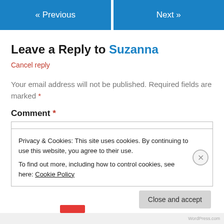« Previous
Next »
Leave a Reply to Suzanna
Cancel reply
Your email address will not be published. Required fields are marked *
Comment *
Privacy & Cookies: This site uses cookies. By continuing to use this website, you agree to their use.
To find out more, including how to control cookies, see here: Cookie Policy
Close and accept